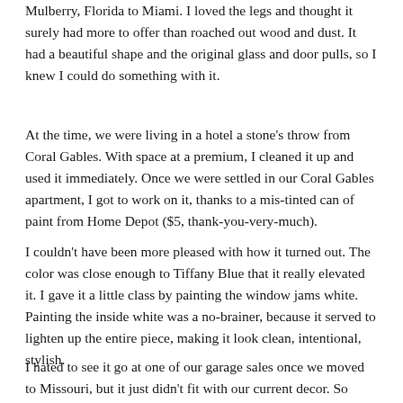Mulberry, Florida to Miami. I loved the legs and thought it surely had more to offer than roached out wood and dust. It had a beautiful shape and the original glass and door pulls, so I knew I could do something with it.
At the time, we were living in a hotel a stone's throw from Coral Gables. With space at a premium, I cleaned it up and used it immediately. Once we were settled in our Coral Gables apartment, I got to work on it, thanks to a mis-tinted can of paint from Home Depot ($5, thank-you-very-much).
I couldn't have been more pleased with how it turned out. The color was close enough to Tiffany Blue that it really elevated it. I gave it a little class by painting the window jams white. Painting the inside white was a no-brainer, because it served to lighten up the entire piece, making it look clean, intentional, stylish.
I hated to see it go at one of our garage sales once we moved to Missouri, but it just didn't fit with our current decor. So when someone expressed interest in it, I waved a long good-bye to this pretty little